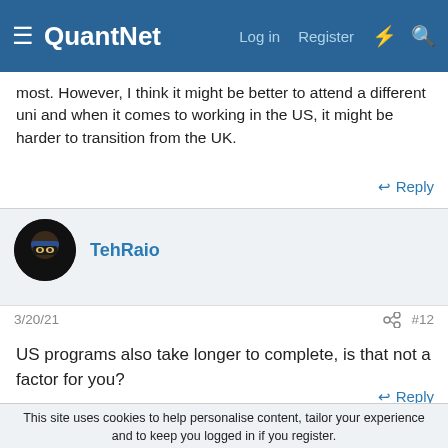QuantNet — Log in  Register
most. However, I think it might be better to attend a different uni and when it comes to working in the US, it might be harder to transition from the UK.
↩ Reply
TehRaio
3/20/21   #12
US programs also take longer to complete, is that not a factor for you?
↩ Reply
This site uses cookies to help personalise content, tailor your experience and to keep you logged in if you register.
By continuing to use this site, you are consenting to our use of cookies.